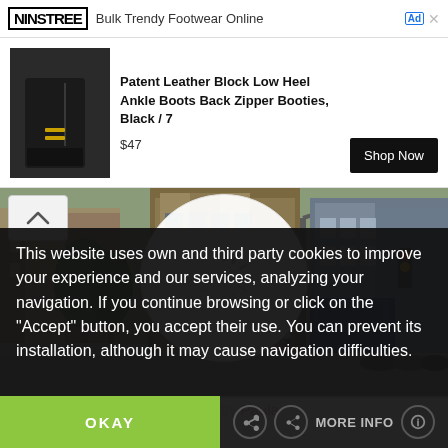[Figure (screenshot): Ad banner with NINSTREE logo and tagline 'Bulk Trendy Footwear Online']
[Figure (screenshot): Product listing: Patent Leather Block Low Heel Ankle Boots Back Zipper Booties, Black / 7, $47, with Shop Now button]
[Figure (photo): Street photo showing urban Barcelona-style street with buildings, trees, and city traffic]
Written by Paula
This website uses own and third party cookies to improve your experience and our services, analyzing your navigation. If you continue browsing or click on the "Accept" button, you accept their use. You can prevent its installation, although it may cause navigation difficulties.
OKAY
MORE INFO